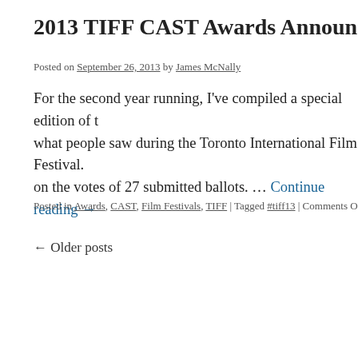2013 TIFF CAST Awards Announcement
Posted on September 26, 2013 by James McNally
For the second year running, I've compiled a special edition of t… what people saw during the Toronto International Film Festival. … on the votes of 27 submitted ballots. … Continue reading →
Posted in Awards, CAST, Film Festivals, TIFF | Tagged #tiff13 | Comments O…
← Older posts